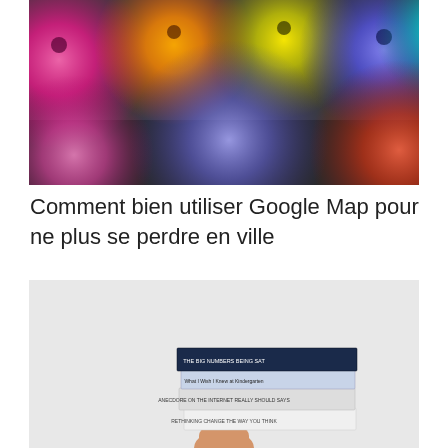[Figure (photo): Colorful bokeh circles (pink, orange, yellow, blue, teal) on a dark background, blurred lens effect]
Comment bien utiliser Google Map pour ne plus se perdre en ville
[Figure (photo): A hand holding a stack of books against a gray background, photographed from below]